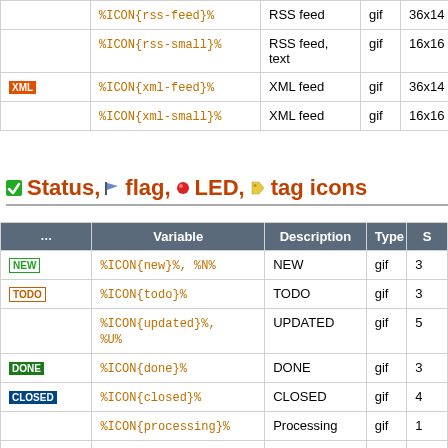|  | Variable | Description | Type | S |
| --- | --- | --- | --- | --- |
|  | %ICON{rss-feed}% | RSS feed | gif | 36x14 |
|  | %ICON{rss-small}% | RSS feed, text | gif | 16x16 |
| XML | %ICON{xml-feed}% | XML feed | gif | 36x14 |
|  | %ICON{xml-small}% | XML feed | gif | 16x16 |
Status, flag, LED, tag icons
|  | Variable | Description | Type | S |
| --- | --- | --- | --- | --- |
| NEW | %ICON{new}%, %N% | NEW | gif | 3 |
| TODO | %ICON{todo}% | TODO | gif | 3 |
|  | %ICON{updated}%, %U% | UPDATED | gif | 5 |
| DONE | %ICON{done}% | DONE | gif | 3 |
| CLOSED | %ICON{closed}% | CLOSED | gif | 4 |
|  | %ICON{processing}% | Processing | gif | 1 |
|  | %ICON{processing- | Processing, | gif | 1 |